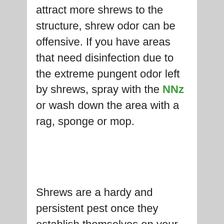attract more shrews to the structure, shrew odor can be offensive. If you have areas that need disinfection due to the extreme pungent odor left by shrews, spray with the NNz or wash down the area with a rag, sponge or mop.
Shrews are a hardy and persistent pest once they establish themselves on your property. If you have a natural landscape which is rich with nuts, seed, insects and wildlife, chances are high that shrews will likely disrupt them as well...